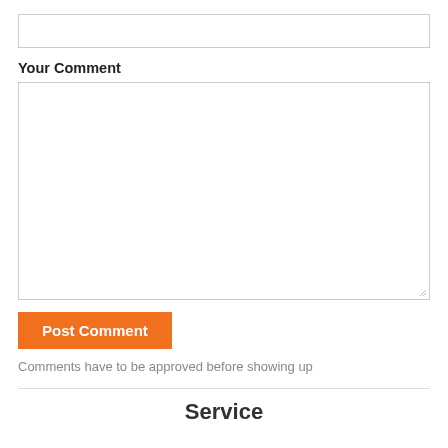[Figure (screenshot): Empty text input field with light gray border]
Your Comment
[Figure (screenshot): Large empty textarea with light gray border and resize handle in bottom-right corner]
[Figure (other): Orange 'Post Comment' button]
Comments have to be approved before showing up
Service